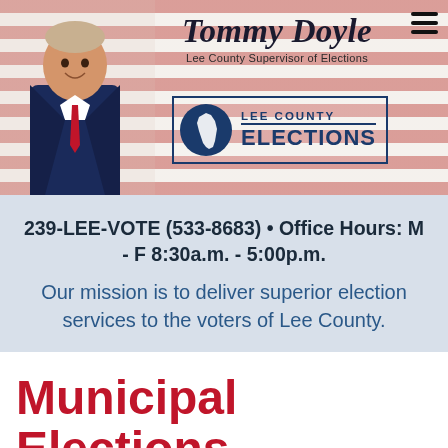[Figure (photo): Header banner featuring Tommy Doyle in a suit with American flag background, Lee County Elections logo, and hamburger menu icon.]
239-LEE-VOTE (533-8683) • Office Hours: M - F 8:30a.m. - 5:00p.m. Our mission is to deliver superior election services to the voters of Lee County.
Municipal Elections Schedule